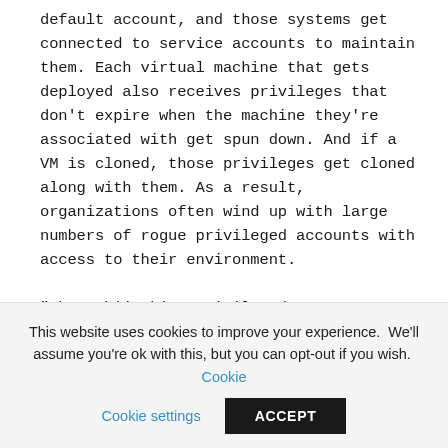default account, and those systems get connected to service accounts to maintain them. Each virtual machine that gets deployed also receives privileges that don't expire when the machine they're associated with get spun down. And if a VM is cloned, those privileges get cloned along with them. As a result, organizations often wind up with large numbers of rogue privileged accounts with access to their environment.

"Thus, hijacking privileged accounts gives attackers the ability to access and download an organization's most sensitive data, poison data, broadly distribute malware, bypass existing security controls, and erase audit trails to hide their activity," Thycotic writes in the report. "It is critical to proactively manage, monitor, and control
This website uses cookies to improve your experience. We'll assume you're ok with this, but you can opt-out if you wish. Cookie settings ACCEPT